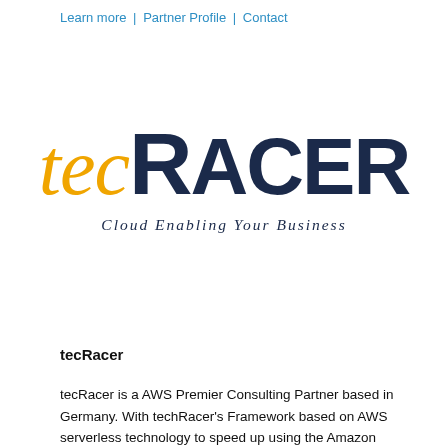Learn more | Partner Profile | Contact
[Figure (logo): tecRacer logo with italic golden 'tec' and dark navy bold uppercase 'RACER', tagline 'Cloud Enabling Your Business' below in italic navy]
tecRacer
tecRacer is a AWS Premier Consulting Partner based in Germany. With techRacer's Framework based on AWS serverless technology to speed up using the Amazon